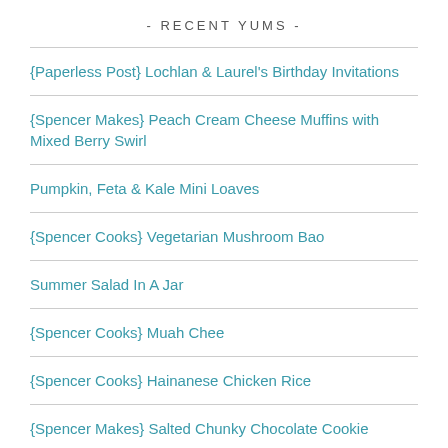- RECENT YUMS -
{Paperless Post} Lochlan & Laurel's Birthday Invitations
{Spencer Makes} Peach Cream Cheese Muffins with Mixed Berry Swirl
Pumpkin, Feta & Kale Mini Loaves
{Spencer Cooks} Vegetarian Mushroom Bao
Summer Salad In A Jar
{Spencer Cooks} Muah Chee
{Spencer Cooks} Hainanese Chicken Rice
{Spencer Makes} Salted Chunky Chocolate Cookie